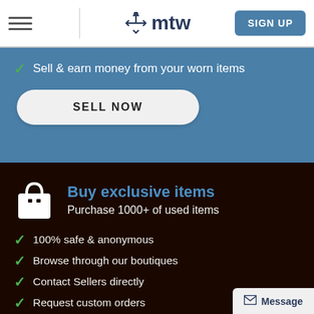mtw — SIGN UP
Sell & earn money from your worn items
SELL NOW
Buy exclusive items
Purchase 1000+ of used items
100% safe & anonymous
Browse through our boutiques
Contact Sellers directly
Request custom orders
Message